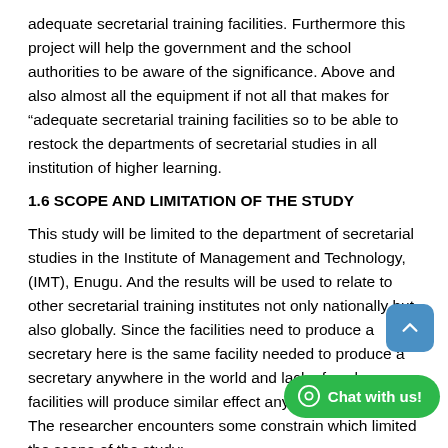adequate secretarial training facilities. Furthermore this project will help the government and the school authorities to be aware of the significance. Above and also almost all the equipment if not all that makes for “adequate secretarial training facilities so to be able to restock the departments of secretarial studies in all institution of higher learning.
1.6 SCOPE AND LIMITATION OF THE STUDY
This study will be limited to the department of secretarial studies in the Institute of Management and Technology, (IMT), Enugu. And the results will be used to relate to other secretarial training institutes not only nationally but also globally. Since the facilities need to produce a secretary here is the same facility needed to produce a secretary anywhere in the world and lack of such facilities will produce similar effect anywhere in the world. The researcher encounters some constrain which limited the scope of the study;
a) AVAILABILITY OF RESEARCH MATERIAL: The research material available to the researcher is insufficient, thereby limiting the study